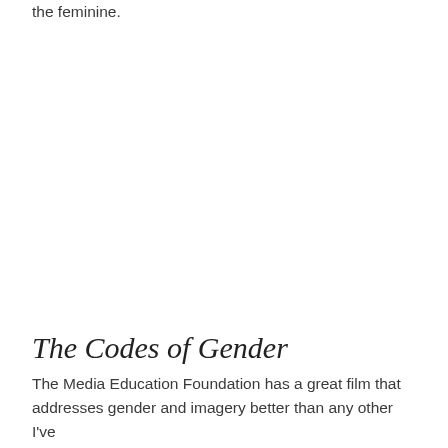the feminine.
The Codes of Gender
The Media Education Foundation has a great film that addresses gender and imagery better than any other I've